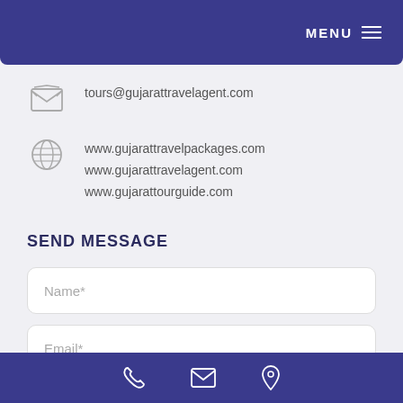MENU
tours@gujarattravelagent.com
www.gujarattravelpackages.com
www.gujarattravelagent.com
www.gujarattourguide.com
SEND MESSAGE
Name*
Email*
phone / email / location icons